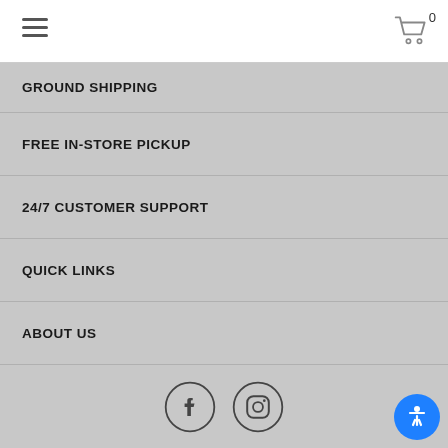Navigation header with hamburger menu and cart icon showing 0
GROUND SHIPPING
FREE IN-STORE PICKUP
24/7 CUSTOMER SUPPORT
QUICK LINKS
ABOUT US
MEMBER SERVICES
[Figure (illustration): Social media icons: Facebook and Instagram circular outline icons, plus accessibility button in bottom right]